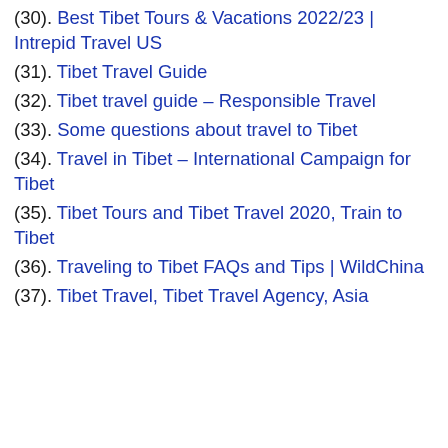(30). Best Tibet Tours & Vacations 2022/23 | Intrepid Travel US
(31). Tibet Travel Guide
(32). Tibet travel guide – Responsible Travel
(33). Some questions about travel to Tibet
(34). Travel in Tibet – International Campaign for Tibet
(35). Tibet Tours and Tibet Travel 2020, Train to Tibet
(36). Traveling to Tibet FAQs and Tips | WildChina
(37). Tibet Travel, Tibet Travel Agency, Asia